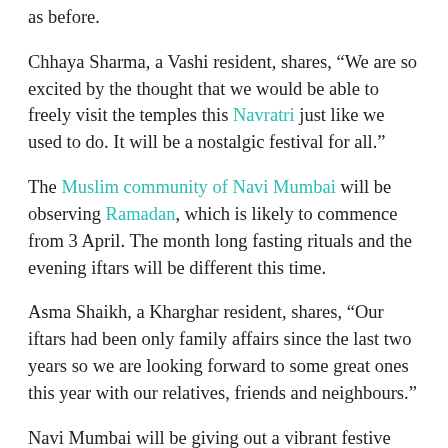as before.
Chhaya Sharma, a Vashi resident, shares, “We are so excited by the thought that we would be able to freely visit the temples this Navratri just like we used to do. It will be a nostalgic festival for all.”
The Muslim community of Navi Mumbai will be observing Ramadan, which is likely to commence from 3 April. The month long fasting rituals and the evening iftars will be different this time.
Asma Shaikh, a Kharghar resident, shares, “Our iftars had been only family affairs since the last two years so we are looking forward to some great ones this year with our relatives, friends and neighbours.”
Navi Mumbai will be giving out a vibrant festive vibe from tomorrow and we just hope that people take it slow and maintain the purity of the festivities by not going overboard in any manner.
“